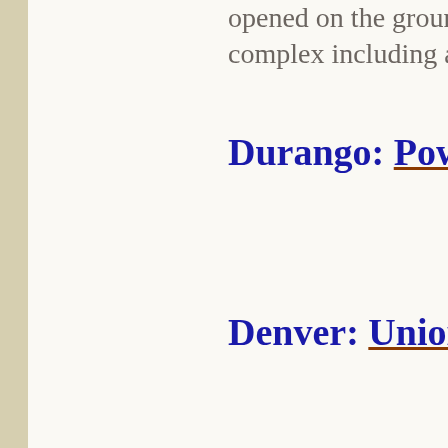opened on the grounds. The complex including a confer
Durango: Power
Denver: Union